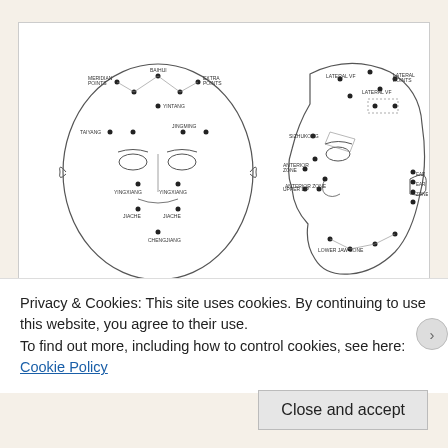[Figure (illustration): Medical acupuncture or facial pressure point diagram showing two views of a human head (front and side/profile) with labeled acupuncture or reflex points marked with dots and lines indicating anatomical locations on the face and head.]
Privacy & Cookies: This site uses cookies. By continuing to use this website, you agree to their use.
To find out more, including how to control cookies, see here: Cookie Policy
Close and accept